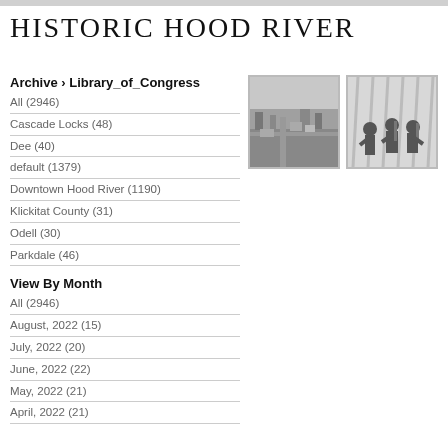HISTORIC HOOD RIVER
Archive › Library_of_Congress
All (2946)
Cascade Locks (48)
Dee (40)
default (1379)
Downtown Hood River (1190)
Klickitat County (31)
Odell (30)
Parkdale (46)
[Figure (photo): Aerial black and white photograph of a town/landscape]
[Figure (photo): Black and white photograph of people playing musical instruments at an event]
View By Month
All (2946)
August, 2022 (15)
July, 2022 (20)
June, 2022 (22)
May, 2022 (21)
April, 2022 (21)